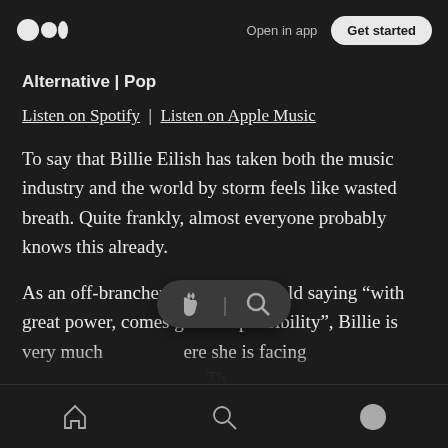Open in app | Get started
Alternative | Pop
Listen on Spotify | Listen on Apple Music
To say that Billie Eilish has taken both the music industry and the world by storm feels like wasted breath. Quite frankly, almost everyone probably knows this already.
As an off-brancher of sorts to the old saying “with great power, comes great responsibility”, Billie is very much [here] she is facing
Home | Search | Profile